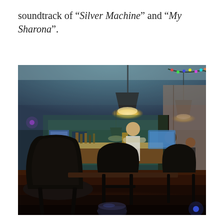soundtrack of “Silver Machine” and “My Sharona”.
[Figure (photo): Interior of a pub or bar photographed from a low angle at a table. Dark wooden chairs and tables in the foreground, a bar counter with people standing nearby in the middle ground, pendant lights hanging from the ceiling (one illuminated), colorful fairy lights in the upper right corner, and a blue-tinted ceiling. The atmosphere is dim and warm.]